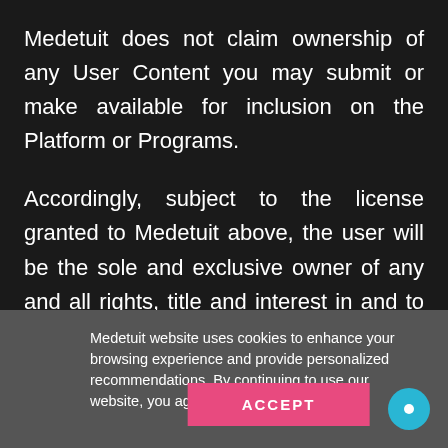Medetuit does not claim ownership of any User Content you may submit or make available for inclusion on the Platform or Programs.
Accordingly, subject to the license granted to Medetuit above, the user will be the sole and exclusive owner of any and all rights, title and interest in and to the User Content. With respect to any User Content you submit via the Platform or Courses or that is otherwise made available to Medetuit, you hereby grant Medetuit an irrevocable, worldwide, perpetual, royalty-free and non-
Medetuit website uses cookies to enhance your browsing experience and provide personalized recommendations. By continuing to use our website, you agree to our Privacy Policy .